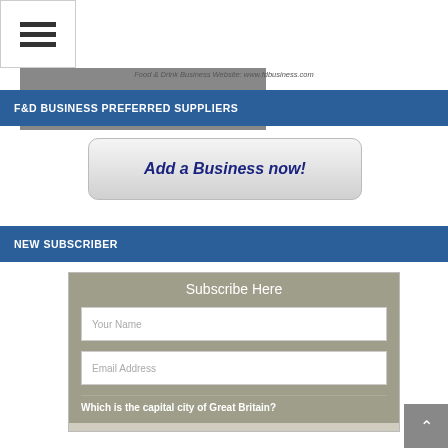[Figure (photo): Top banner with hamburger menu icon on left and person in dark suit with red tie photo on right; website caption below reads 'Food & Drink Business Website: www.fdbusiness.com']
Food & Drink Business Website: www.fdbusiness.com
F&D BUSINESS PREFERRED SUPPLIERS
[Figure (other): Button labeled 'Add a Business now!' with gradient background and rounded corners]
NEW SUBSCRIBER
[Figure (other): Subscribe Here form with 'Your Name' input, 'Email Address' input, and question 'Which is the capital city of Great Britain?']